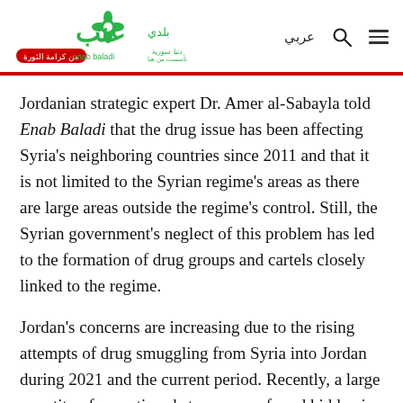Enab Baladi | عربي
Jordanian strategic expert Dr. Amer al-Sabayla told Enab Baladi that the drug issue has been affecting Syria's neighboring countries since 2011 and that it is not limited to the Syrian regime's areas as there are large areas outside the regime's control. Still, the Syrian government's neglect of this problem has led to the formation of drug groups and cartels closely linked to the regime.
Jordan's concerns are increasing due to the rising attempts of drug smuggling from Syria into Jordan during 2021 and the current period. Recently, a large quantity of narcotic substances was found hidden in Syrian trucks passing through the main border